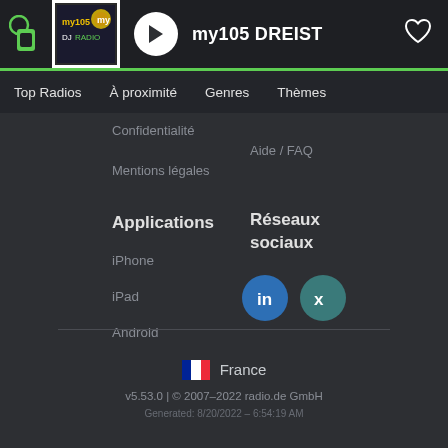my105 DREIST
Top Radios  À proximité  Genres  Thèmes
Confidentialité
Aide / FAQ
Mentions légales
Applications
Réseaux sociaux
iPhone
iPad
Android
[Figure (logo): LinkedIn and Xing social media icons]
France
v5.53.0 | © 2007–2022 radio.de GmbH
Generated: 8/20/2022 – 6:54:19 AM